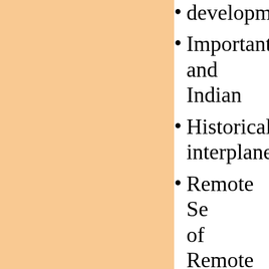development
Important and Indian
Historical interplanet
Remote Se of Remote and applic
Developm convention policies, p